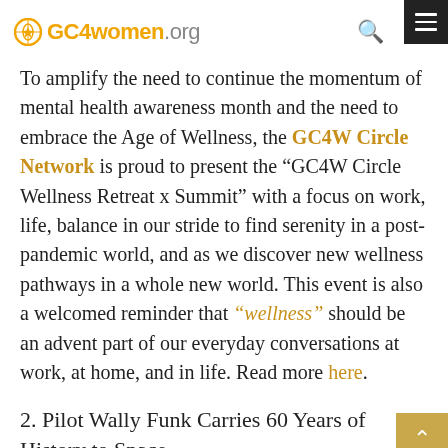GC4women.org
To amplify the need to continue the momentum of mental health awareness month and the need to embrace the Age of Wellness, the GC4W Circle Network is proud to present the “GC4W Circle Wellness Retreat x Summit” with a focus on work, life, balance in our stride to find serenity in a post-pandemic world, and as we discover new wellness pathways in a whole new world. This event is also a welcomed reminder that “wellness” should be an advent part of our everyday conversations at work, at home, and in life. Read more here.
2. Pilot Wally Funk Carries 60 Years of History to Space